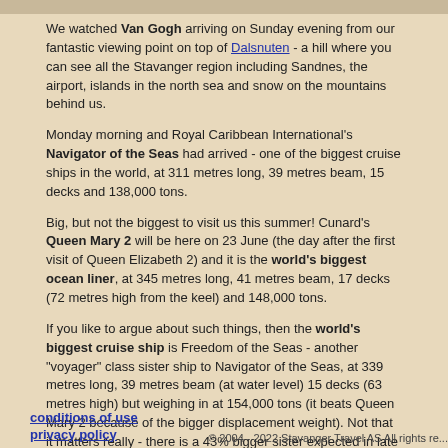We watched Van Gogh arriving on Sunday evening from our fantastic viewing point on top of Dalsnuten - a hill where you can see all the Stavanger region including Sandnes, the airport, islands in the north sea and snow on the mountains behind us.
Monday morning and Royal Caribbean International's Navigator of the Seas had arrived - one of the biggest cruise ships in the world, at 311 metres long, 39 metres beam, 15 decks and 138,000 tons.
Big, but not the biggest to visit us this summer! Cunard's Queen Mary 2 will be here on 23 June (the day after the first visit of Queen Elizabeth 2) and it is the world's biggest ocean liner, at 345 metres long, 41 metres beam, 17 decks (72 metres high from the keel) and 148,000 tons.
If you like to argue about such things, then the world's biggest cruise ship is Freedom of the Seas - another "voyager" class sister ship to Navigator of the Seas, at 339 metres long, 39 metres beam (at water level) 15 decks (63 metres high) but weighing in at 154,000 tons (it beats Queen Mary 2 because of the bigger displacement weight). Not that it matters really - there is a 43% bigger sister expected in late 2009! The difference between a cruise ship and an ocean liner? Speed! Queen Mary 2 is built to cross oc... cruise ships have a maximum speed of around 22 knots.
The last cruise ship this year is expected on 24 September. In between we will have lots of other vi... Harbour authority's website.
News index
Previous story
Next story
conditions of use   privacy policy   © 2004 - 2022 Stavanger Travel AS All rights re...